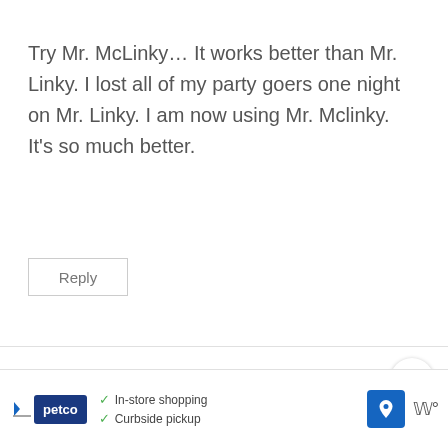Try Mr. McLinky… It works better than Mr. Linky. I lost all of my party goers one night on Mr. Linky. I am now using Mr. Mclinky. It's so much better.
Reply
{ L } says:
February 8, 2010 at 11:06 am
[Figure (infographic): WHAT'S NEXT arrow label with food image thumbnail and text 'One Pot Meals and Easy...']
[Figure (infographic): Advertisement bar with Petco logo, checkmarks for In-store shopping and Curbside pickup, a map/navigation icon, and a wave icon]